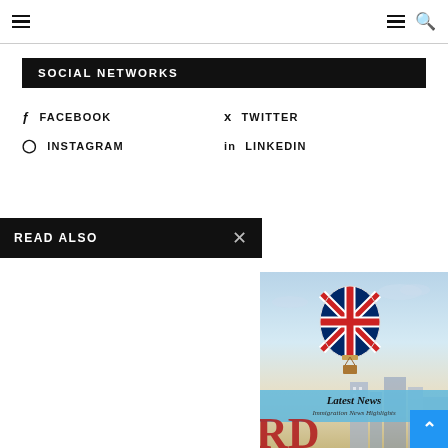Navigation bar with hamburger menu and search icon
SOCIAL NETWORKS
FACEBOOK
TWITTER
INSTAGRAM
LINKEDIN
READ ALSO
[Figure (illustration): Hot air balloon with UK Union Jack flag design over a city skyline with Latest News Immigration News Highlights banner and partial RD letters at bottom]